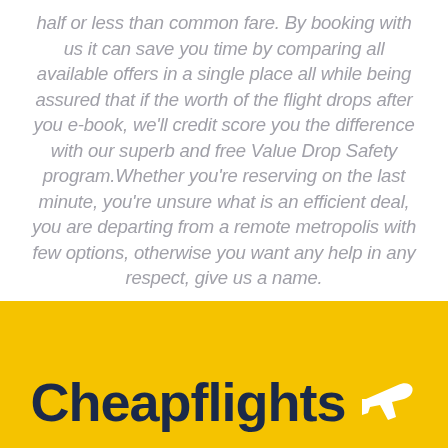half or less than common fare. By booking with us it can save you time by comparing all available offers in a single place all while being assured that if the worth of the flight drops after you e-book, we'll credit score you the difference with our superb and free Value Drop Safety program.Whether you're reserving on the last minute, you're unsure what is an efficient deal, you are departing from a remote metropolis with few options, otherwise you want any help in any respect, give us a name.
[Figure (logo): Cheapflights logo — bold dark navy text 'Cheapflights' with a white airplane icon on a bright yellow background]